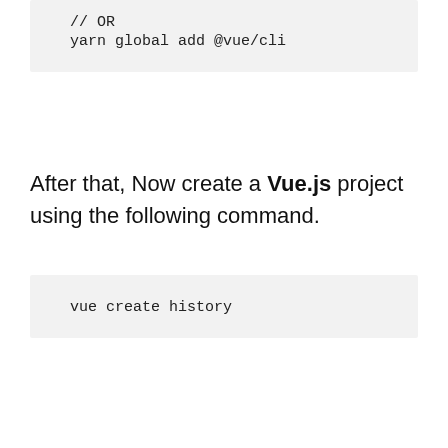// OR
yarn global add @vue/cli
After that, Now create a Vue.js project using the following command.
vue create history